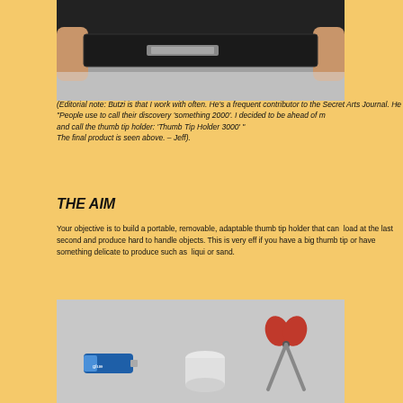[Figure (photo): Hands holding a flat rectangular object (thumb tip holder), close-up photo from above]
(Editorial note:  Butzi is that I work with often. He's a frequent contributor to the Secret Arts Journal. He "People use to call their discovery 'something 2000'. I decided to be ahead of m and call the thumb tip holder:  'Thumb Tip Holder 3000' " The final product is seen above. – Jeff).
THE AIM
Your objective is to build a portable, removable, adaptable thumb tip holder that can  load at the last second and produce hard to handle objects. This is very eff if you have a big thumb tip or have something delicate to produce such as  liqui or sand.
[Figure (photo): Crafting supplies on a gray surface: a tube of glue, a white cylindrical object, and a pair of scissors with red handles]